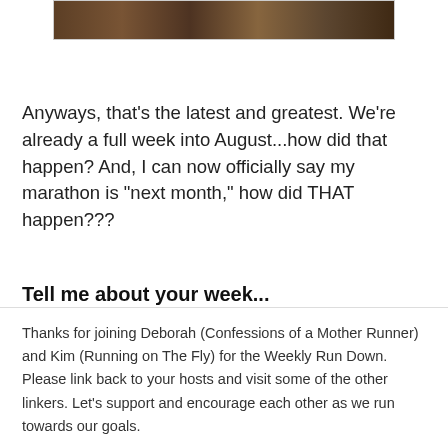[Figure (photo): Partial view of a photo strip showing dirt/soil/earth texture, cropped at top of page]
Anyways, that's the latest and greatest. We're already a full week into August...how did that happen? And, I can now officially say my marathon is "next month," how did THAT happen???
Tell me about your week...
Any great workouts? Any tough runs? Any races?
By InLinkz
Thanks for joining Deborah (Confessions of a Mother Runner) and Kim (Running on The Fly) for the Weekly Run Down. Please link back to your hosts and visit some of the other linkers. Let's support and encourage each other as we run towards our goals.